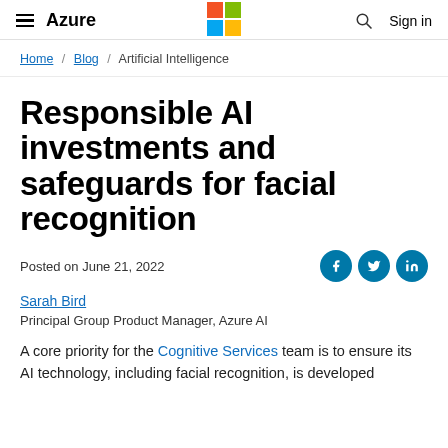≡ Azure | [Microsoft logo] | 🔍 Sign in
Home / Blog / Artificial Intelligence
Responsible AI investments and safeguards for facial recognition
Posted on June 21, 2022
Sarah Bird
Principal Group Product Manager, Azure AI
A core priority for the Cognitive Services team is to ensure its AI technology, including facial recognition, is developed